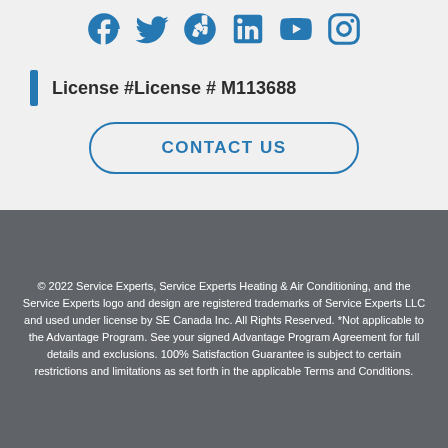[Figure (other): Social media icons row: Facebook, Twitter, Yelp, LinkedIn, YouTube, Instagram — all in blue]
License #License # M113688
CONTACT US
© 2022 Service Experts, Service Experts Heating & Air Conditioning, and the Service Experts logo and design are registered trademarks of Service Experts LLC and used under license by SE Canada Inc. All Rights Reserved. *Not applicable to the Advantage Program. See your signed Advantage Program Agreement for full details and exclusions. 100% Satisfaction Guarantee is subject to certain restrictions and limitations as set forth in the applicable Terms and Conditions.